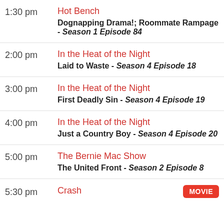1:30 pm | Hot Bench | Dognapping Drama!; Roommate Rampage - Season 1 Episode 84
2:00 pm | In the Heat of the Night | Laid to Waste - Season 4 Episode 18
3:00 pm | In the Heat of the Night | First Deadly Sin - Season 4 Episode 19
4:00 pm | In the Heat of the Night | Just a Country Boy - Season 4 Episode 20
5:00 pm | The Bernie Mac Show | The United Front - Season 2 Episode 8
5:30 pm | Crash | MOVIE